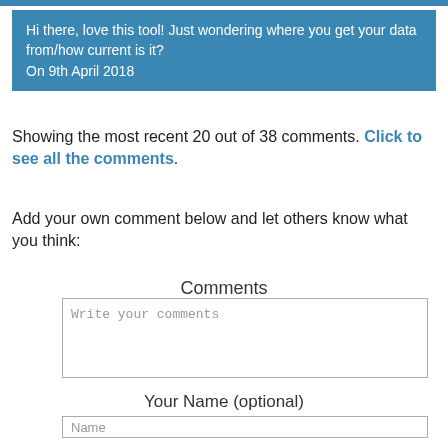Hi there, love this tool! Just wondering where you get your data from/how current is it?
On 9th April 2018
Showing the most recent 20 out of 38 comments. Click to see all the comments.
Add your own comment below and let others know what you think:
Comments
Write your comments
Your Name (optional)
Name